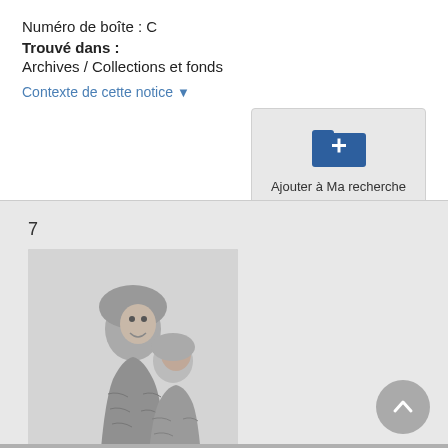Numéro de boîte : C
Trouvé dans :
Archives / Collections et fonds
Contexte de cette notice ▼
[Figure (illustration): Button/widget: folder icon with plus sign, labeled 'Ajouter à Ma recherche']
7
[Figure (photo): Grayscale photograph of two people wearing heavy fur coats, smiling]
1 objet(s) numérique(s)